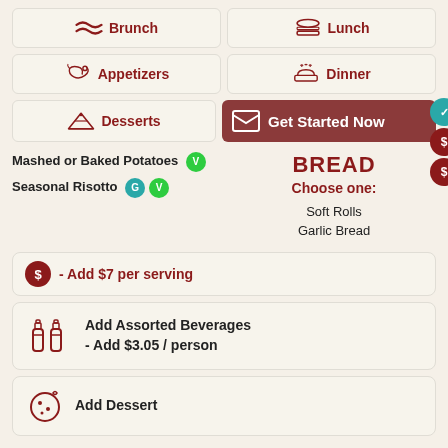Brunch
Lunch
Appetizers
Dinner
Desserts
Get Started Now
Mashed or Baked Potatoes [V]
Seasonal Risotto [G] [V]
BREAD
Choose one:
Soft Rolls
Garlic Bread
$ - Add $7 per serving
Add Assorted Beverages - Add $3.05 / person
Add Dessert